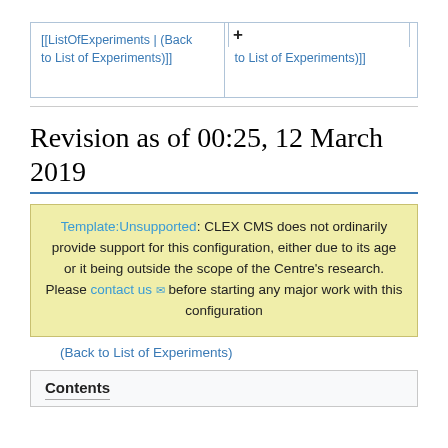[[ListOfExperiments | (Back to List of Experiments)]]
[[ListOfExperiments | (Back to List of Experiments)]]
Revision as of 00:25, 12 March 2019
Template:Unsupported: CLEX CMS does not ordinarily provide support for this configuration, either due to its age or it being outside the scope of the Centre's research. Please contact us before starting any major work with this configuration
(Back to List of Experiments)
Contents